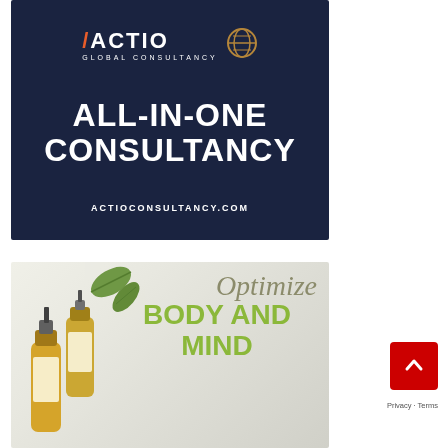[Figure (logo): ACTIO Global Consultancy advertisement banner. Dark navy blue background with white bold text reading ALL-IN-ONE CONSULTANCY and URL actioconsultancy.com. Logo at top with globe icon.]
[Figure (illustration): Wellness product advertisement. Light grey/white background with essential oil dropper bottles on the left, cursive script text reading Optimize and bold green text reading BODY AND MIND. Green leaves visible in top left.]